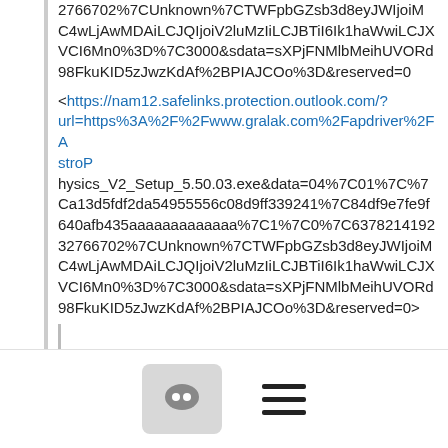2766702%7CUnknown%7CTWFpbGZsb3d8eyJWIjoiMC4wLjAwMDAiLCJQIjoiV2luMzIiLCJBTiI6Ik1haWwiLCJXVCI6Mn0%3D%7C3000&amp;sdata=sXPjFNMlbMeihUVORd98FkuKID5zJwzKdAf%2BPIAJCOo%3D&amp;reserved=0
<https://nam12.safelinks.protection.outlook.com/?url=https%3A%2F%2Fwww.gralak.com%2Fapdriver%2FAstroPhysics_V2_Setup_5.50.03.exe&amp;data=04%7C01%7C%7Ca13d5fdf2da54955556c08d9ff339241%7C84df9e7fe9f640afb435aaaaaaaaaaaaa%7C1%7C0%7C637821419232766702%7CUnknown%7CTWFpbGZsb3d8eyJWIjoiMC4wLjAwMDAiLCJQIjoiV2luMzIiLCJBTiI6Ik1haWwiLCJXVCI6Mn0%3D%7C3000&amp;sdata=sXPjFNMlbMeihUVORd98FkuKID5zJwzKdAf%2BPIAJCOo%3D&amp;reserved=0>
<https://nam12.safelinks.protection.outlook.com/?